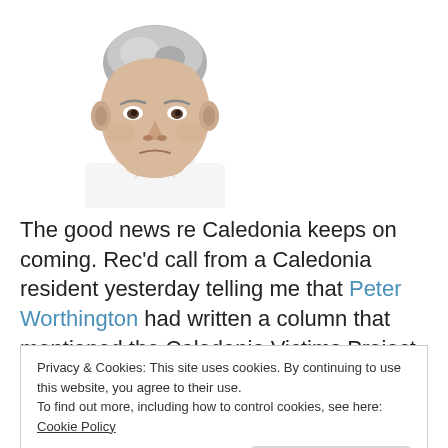[Figure (photo): Portrait photo of an elderly man with gray hair wearing a white shirt, looking slightly stern, on a white background]
The good news re Caledonia keeps on coming. Rec'd call from a Caledonia resident yesterday telling me that Peter Worthington had written a column that mentioned the Caledonia Victims Project, and which included several
Privacy & Cookies: This site uses cookies. By continuing to use this website, you agree to their use.
To find out more, including how to control cookies, see here: Cookie Policy
Close and accept